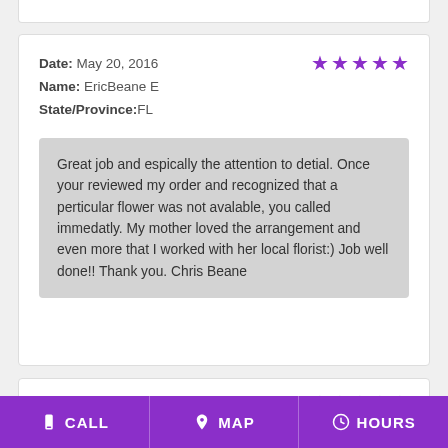Date: May 20, 2016
Name: EricBeane E
State/Province: FL
[5 stars]
Great job and espically the attention to detial. Once your reviewed my order and recognized that a perticular flower was not avalable, you called immedatly. My mother loved the arrangement and even more that I worked with her local florist:) Job well done!! Thank you. Chris Beane
Date: May 20, 2016
Name: EricBeane E
[5 stars]
CALL   MAP   HOURS